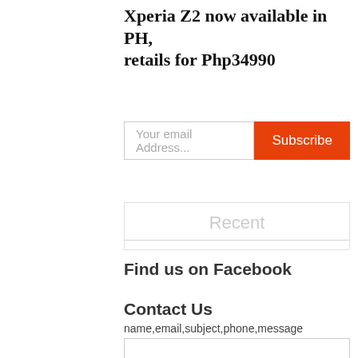Xperia Z2 now available in PH, retails for Php34990
Your email Address...
Subscribe
Recent
Find us on Facebook
Contact Us
name,email,subject,phone,message